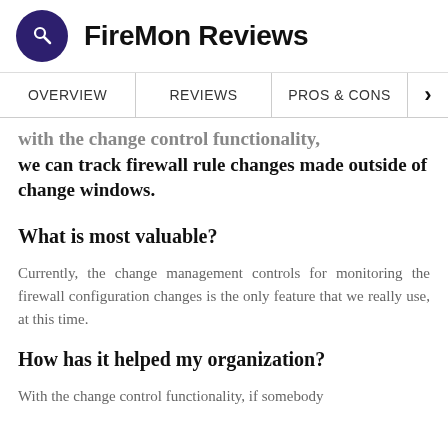FireMon Reviews
OVERVIEW   REVIEWS   PROS & CONS
with the change control functionality, we can track firewall rule changes made outside of change windows.
What is most valuable?
Currently, the change management controls for monitoring the firewall configuration changes is the only feature that we really use, at this time.
How has it helped my organization?
With the change control functionality, if somebody